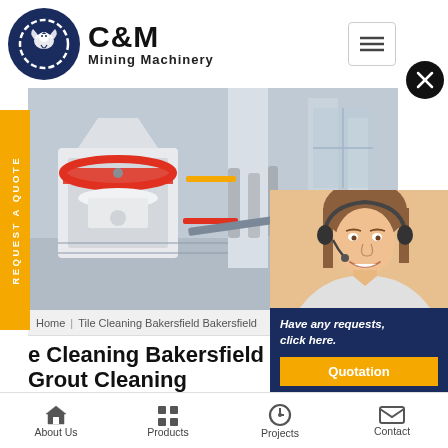[Figure (logo): C&M Mining Machinery logo with eagle in gear circle, navy blue]
[Figure (photo): Mining machinery equipment photo - industrial crushers]
[Figure (photo): Customer service agent with headset, right side panel]
Have any requests, click here.
Quotation
Enquiry
drobilkalm@gmail.com
Home | Tile Cleaning Bakersfield Bakersfield
e Cleaning Bakersfield Bak Grout Cleaning
[Figure (infographic): Bottom navigation bar with About Us, Products, Projects, Contact icons]